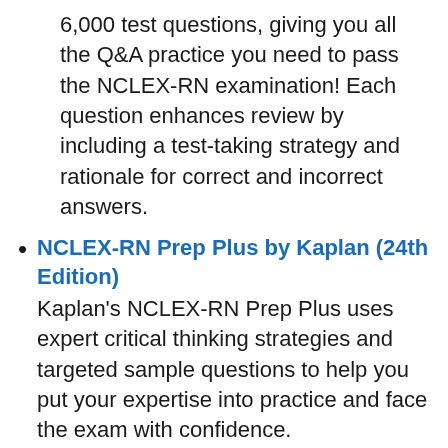6,000 test questions, giving you all the Q&A practice you need to pass the NCLEX-RN examination! Each question enhances review by including a test-taking strategy and rationale for correct and incorrect answers.
NCLEX-RN Prep Plus by Kaplan (24th Edition)
Kaplan's NCLEX-RN Prep Plus uses expert critical thinking strategies and targeted sample questions to help you put your expertise into practice and face the exam with confidence.
Illustrated Study Guide for the NCLEX-RN Exam
Using colorful illustrations and fun mnemonic cartoons, the Illustrated Study Guide for the NCLEX-RN® Exam